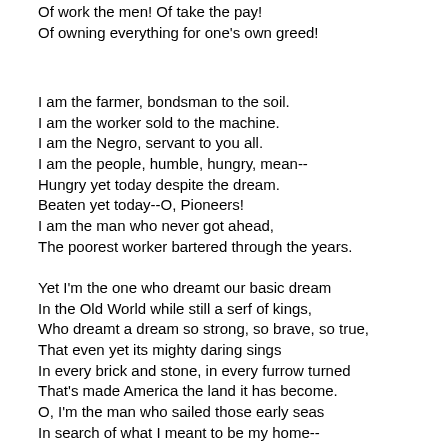Of work the men! Of take the pay!
Of owning everything for one's own greed!
I am the farmer, bondsman to the soil.
I am the worker sold to the machine.
I am the Negro, servant to you all.
I am the people, humble, hungry, mean--
Hungry yet today despite the dream.
Beaten yet today--O, Pioneers!
I am the man who never got ahead,
The poorest worker bartered through the years.
Yet I'm the one who dreamt our basic dream
In the Old World while still a serf of kings,
Who dreamt a dream so strong, so brave, so true,
That even yet its mighty daring sings
In every brick and stone, in every furrow turned
That's made America the land it has become.
O, I'm the man who sailed those early seas
In search of what I meant to be my home--
For I'm the one who left dark Ireland's shore,
And Poland's plain, and England's grassy lea,
And torn from Black Africa's strand I came
To build a "homeland of the free."